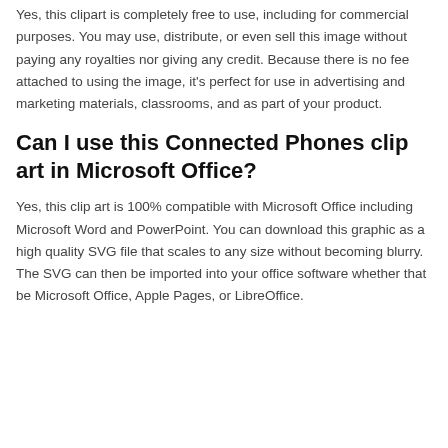Yes, this clipart is completely free to use, including for commercial purposes. You may use, distribute, or even sell this image without paying any royalties nor giving any credit. Because there is no fee attached to using the image, it's perfect for use in advertising and marketing materials, classrooms, and as part of your product.
Can I use this Connected Phones clip art in Microsoft Office?
Yes, this clip art is 100% compatible with Microsoft Office including Microsoft Word and PowerPoint. You can download this graphic as a high quality SVG file that scales to any size without becoming blurry. The SVG can then be imported into your office software whether that be Microsoft Office, Apple Pages, or LibreOffice.